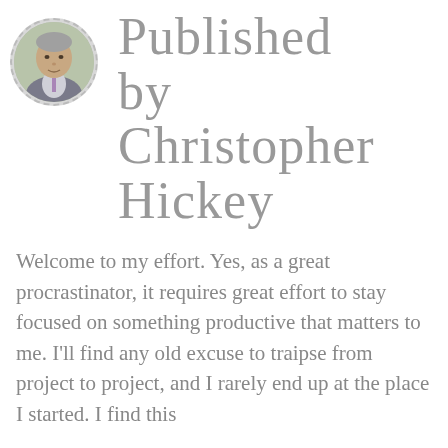[Figure (photo): Circular avatar photo of a man in a suit with a dashed border, positioned top-left]
Published by Christopher Hickey
Welcome to my effort. Yes, as a great procrastinator, it requires great effort to stay focused on something productive that matters to me. I'll find any old excuse to traipse from project to project, and I rarely end up at the place I started. I find this